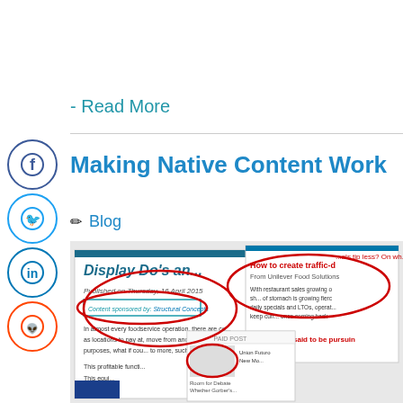- Read More
Making Native Content Work
Blog
[Figure (screenshot): Collage of article screenshots showing native/sponsored content examples including 'Display Do's and...', 'How to create traffic-d...', and a 'PAID POST' unit, with red circles highlighting sponsored content labels. One article shows 'Published on Thursday, 16 April 2015' and 'Content sponsored by: Structural Concepts'.]